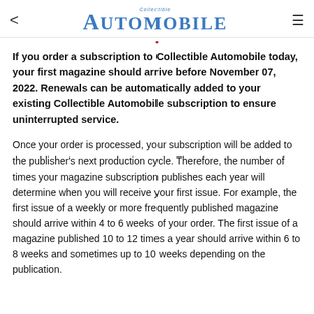Collectible Automobile
If you order a subscription to Collectible Automobile today, your first magazine should arrive before November 07, 2022. Renewals can be automatically added to your existing Collectible Automobile subscription to ensure uninterrupted service.
Once your order is processed, your subscription will be added to the publisher's next production cycle. Therefore, the number of times your magazine subscription publishes each year will determine when you will receive your first issue. For example, the first issue of a weekly or more frequently published magazine should arrive within 4 to 6 weeks of your order. The first issue of a magazine published 10 to 12 times a year should arrive within 6 to 8 weeks and sometimes up to 10 weeks depending on the publication.